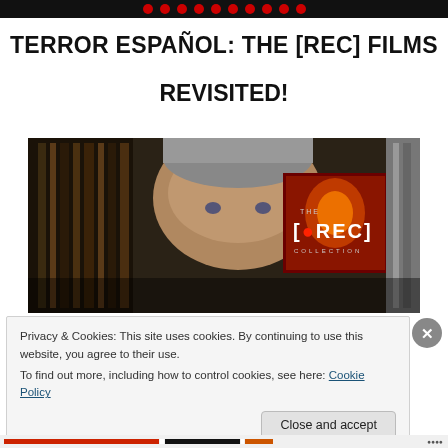TERROR ESPAÑOL: THE [REC] FILMS REVISITED!
[Figure (photo): A man with gray hair in a dark room with bookshelves, holding up a [REC] Collection Blu-ray box set. The [REC] logo is visible on the box.]
Privacy & Cookies: This site uses cookies. By continuing to use this website, you agree to their use.
To find out more, including how to control cookies, see here: Cookie Policy